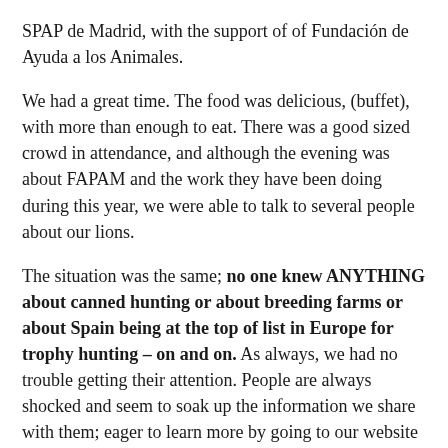SPAP de Madrid, with the support of of Fundación de Ayuda a los Animales.
We had a great time. The food was delicious, (buffet), with more than enough to eat. There was a good sized crowd in attendance, and although the evening was about FAPAM and the work they have been doing during this year, we were able to talk to several people about our lions.
The situation was the same; no one knew ANYTHING about canned hunting or about breeding farms or about Spain being at the top of list in Europe for trophy hunting – on and on. As always, we had no trouble getting their attention. People are always shocked and seem to soak up the information we share with them; eager to learn more by going to our website and Facebook.
In that sense, it was a successful evening for CACH as well.
This is a wonderful group of people who have dedicated so much of their lives - making enormous changes in Spain through education and awareness about the animals who need our care and future.